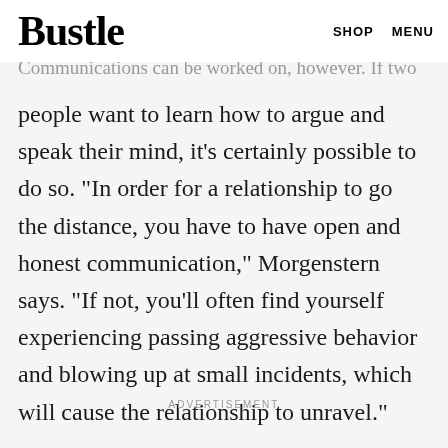Bustle   SHOP   MENU
person most certainly is not your soulmate.
Communications can be worked on, however. If two
people want to learn how to argue and speak their mind, it's certainly possible to do so. "In order for a relationship to go the distance, you have to have open and honest communication," Morgenstern says. "If not, you'll often find yourself experiencing passing aggressive behavior and blowing up at small incidents, which will cause the relationship to unravel."
ADVERTISEMENT